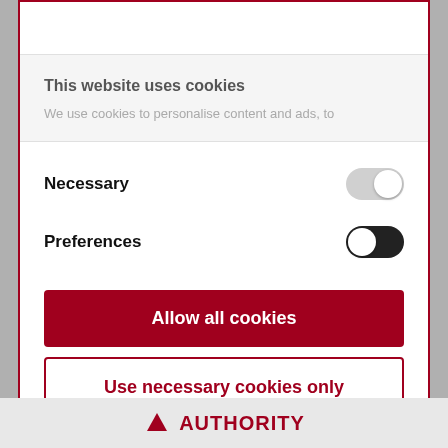This website uses cookies
We use cookies to personalise content and ads, to
Necessary
Preferences
Allow all cookies
Use necessary cookies only
Powered by Cookiebot by Usercentrics
AUTHORITY